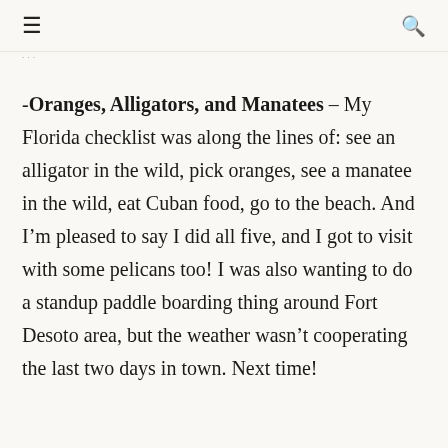≡  🔍
-Oranges, Alligators, and Manatees – My Florida checklist was along the lines of: see an alligator in the wild, pick oranges, see a manatee in the wild, eat Cuban food, go to the beach. And I'm pleased to say I did all five, and I got to visit with some pelicans too! I was also wanting to do a standup paddle boarding thing around Fort Desoto area, but the weather wasn't cooperating the last two days in town. Next time!